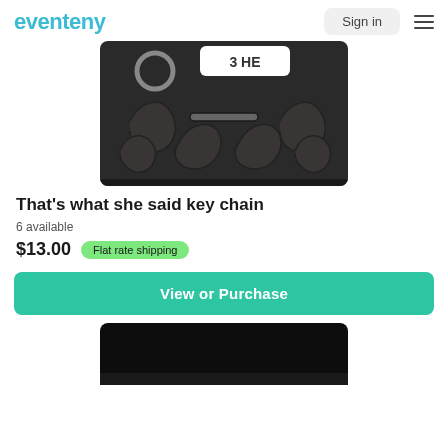eventeny | Sign in
[Figure (photo): Close-up photo of a decorative dark metal key chain with ornate scrollwork patterns and a white label tag reading '3 HE']
That's what she said key chain
6 available
$13.00  Flat rate shipping
View or Purchase
[Figure (photo): Partial view of another product image, mostly dark/black, cut off at bottom of page]